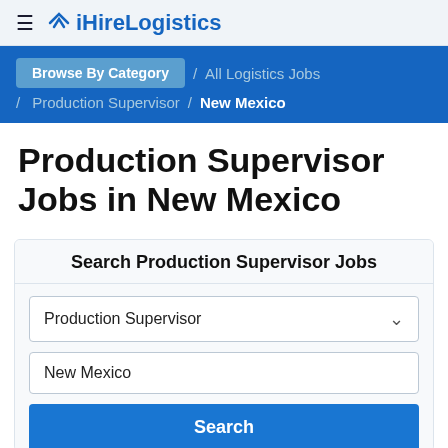iHireLogistics
Browse By Category / All Logistics Jobs / Production Supervisor / New Mexico
Production Supervisor Jobs in New Mexico
Search Production Supervisor Jobs
Production Supervisor
New Mexico
Search